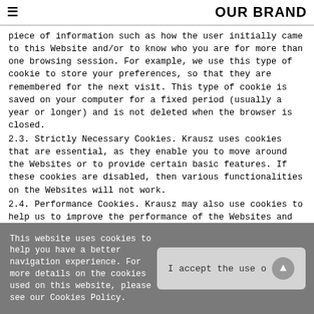OUR BRAND
piece of information such as how the user initially came to this Website and/or to know who you are for more than one browsing session. For example, we use this type of cookie to store your preferences, so that they are remembered for the next visit. This type of cookie is saved on your computer for a fixed period (usually a year or longer) and is not deleted when the browser is closed.
2.3. Strictly Necessary Cookies. Krausz uses cookies that are essential, as they enable you to move around the Websites or to provide certain basic features. If these cookies are disabled, then various functionalities on the Websites will not work.
2.4. Performance Cookies. Krausz may also use cookies to help us to improve the performance of the Websites and provide you with a better user experience.
2.5. Functionality Cookies. Krausz may use cookies to enhance the
This website uses cookies to help you have a better navigation experience. For more details on the cookies used on this website, please see our Cookies Policy.